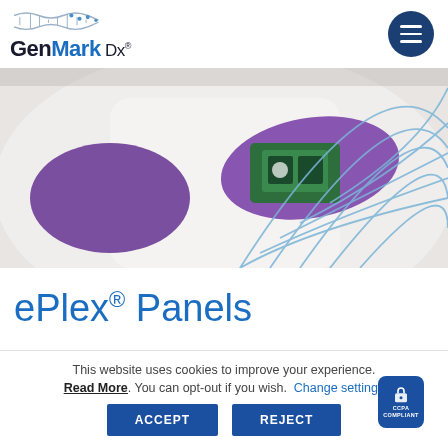[Figure (logo): GenMark Dx logo with DNA helix graphic above text]
[Figure (photo): Lab technician in white coat and purple gloves holding a GenMark ePlex cartridge test kit, with blue wireframe arc graphic overlay on right side]
ePlex® Panels
This website uses cookies to improve your experience. Read More. You can opt-out if you wish. Change settings
ACCEPT | REJECT